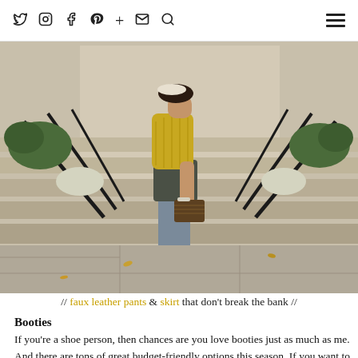social icons: twitter, instagram, facebook, pinterest, plus, email, search | hamburger menu
[Figure (photo): Woman standing on stone steps outdoors, wearing a mustard yellow knit sweater, dark olive/grey leather mini skirt, and tall grey suede over-the-knee heeled boots, holding a patterned clutch bag. Stone balustrade with black iron railing visible in background.]
// faux leather pants & skirt that don't break the bank //
Booties
If you're a shoe person, then chances are you love booties just as much as me. And there are tons of great budget-friendly options this season. If you want to go trendy, I'd suggest these over-the-knee boots (which I just bought